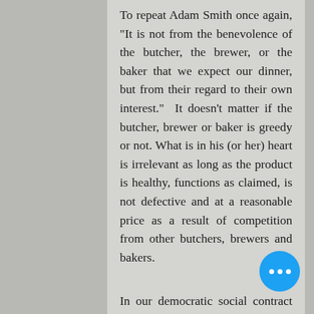To repeat Adam Smith once again, "It is not from the benevolence of the butcher, the brewer, or the baker that we expect our dinner, but from their regard to their own interest." It doesn't matter if the butcher, brewer or baker is greedy or not. What is in his (or her) heart is irrelevant as long as the product is healthy, functions as claimed, is not defective and at a reasonable price as a result of competition from other butchers, brewers and bakers.
In our democratic social contract actions that harm or infringe on the rights of others are subject to legal recourse. Malevolent thoughts that are not acted upon are not punishable even though a merchant or